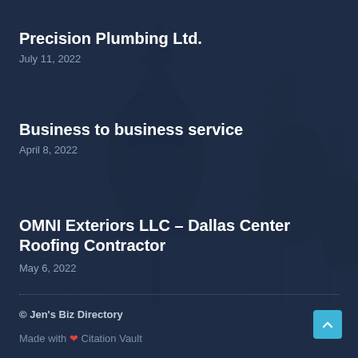Precision Plumbing Ltd.
July 11, 2022
Business to business service
April 8, 2022
OMNI Exteriors LLC – Dallas Center Roofing Contractor
May 6, 2022
© Jen's Biz Directory
Made with ❤ Citation Vault